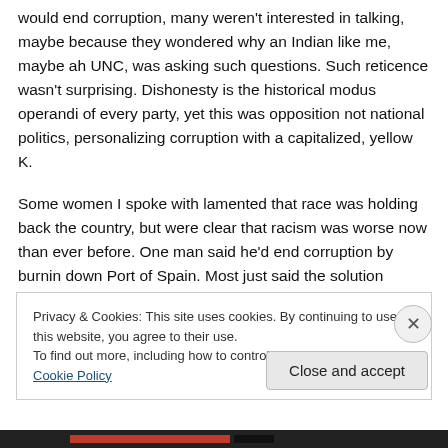would end corruption, many weren't interested in talking, maybe because they wondered why an Indian like me, maybe ah UNC, was asking such questions. Such reticence wasn't surprising. Dishonesty is the historical modus operandi of every party, yet this was opposition not national politics, personalizing corruption with a capitalized, yellow K.
Some women I spoke with lamented that race was holding back the country, but were clear that racism was worse now than ever before. One man said he'd end corruption by burnin down Port of Spain. Most just said the solution
Privacy & Cookies: This site uses cookies. By continuing to use this website, you agree to their use.
To find out more, including how to control cookies, see here: Cookie Policy